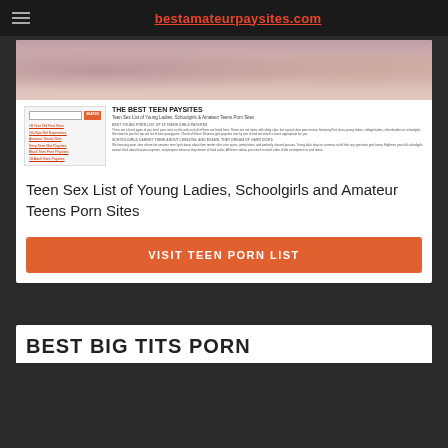bestamateurpaysites.com
[Figure (screenshot): Screenshot of teen paysites website with navigation sidebar and article content]
Teen Sex List of Young Ladies, Schoolgirls and Amateur Teens Porn Sites
VISIT TEEN PORN LIST
BEST BIG TITS PORN